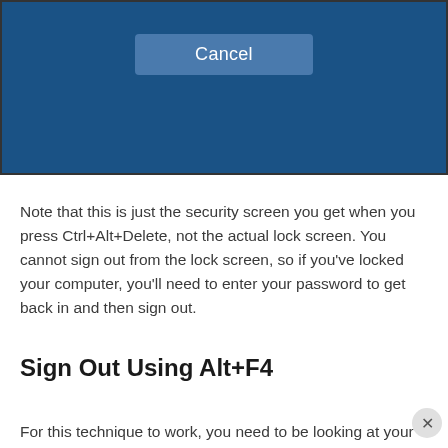[Figure (screenshot): A Windows security screen dialog with a dark blue background showing a 'Cancel' button (light blue rounded rectangle with white text) in the center.]
Note that this is just the security screen you get when you press Ctrl+Alt+Delete, not the actual lock screen. You cannot sign out from the lock screen, so if you've locked your computer, you'll need to enter your password to get back in and then sign out.
Sign Out Using Alt+F4
For this technique to work, you need to be looking at your